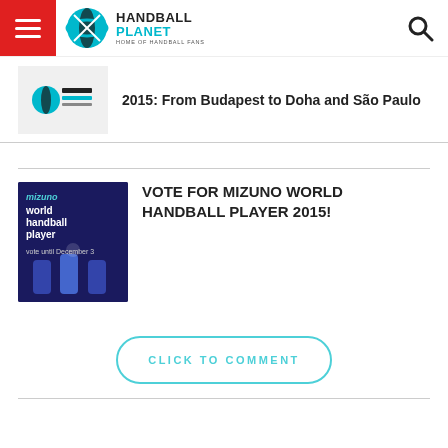Handball Planet — Home of Handball Fans
2015: From Budapest to Doha and São Paulo
VOTE FOR MIZUNO WORLD HANDBALL PLAYER 2015!
CLICK TO COMMENT